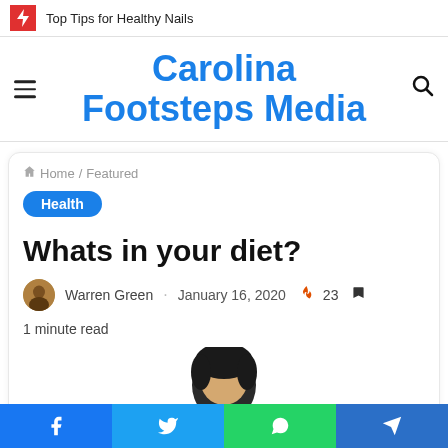Top Tips for Healthy Nails
Carolina Footsteps Media
Home / Featured
Health
Whats in your diet?
Warren Green · January 16, 2020 🔥 23 🔖 1 minute read
[Figure (photo): Partial photo of person's head with dark hair, cropped at bottom of page]
Facebook | Twitter | WhatsApp | Telegram social share buttons